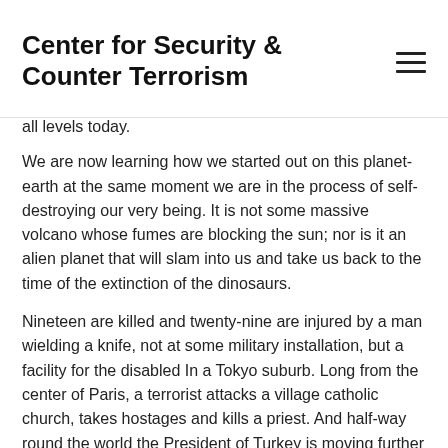Center for Security & Counter Terrorism
all levels today.
We are now learning how we started out on this planet-earth at the same moment we are in the process of self-destroying our very being. It is not some massive volcano whose fumes are blocking the sun; nor is it an alien planet that will slam into us and take us back to the time of the extinction of the dinosaurs.
Nineteen are killed and twenty-nine are injured by a man wielding a knife, not at some military installation, but a facility for the disabled In a Tokyo suburb. Long from the center of Paris, a terrorist attacks a village catholic church, takes hostages and kills a priest. And half-way round the world the President of Turkey is moving further and faster in destroying the democratic fiber of his country in the name of restoring order. If that Country were not vital in the multiple wars in Syria and against ISIS, I doubt if we would tolerate his moving the clock back in a part of the world that should be moving forward. This democratically elected president has begun a witch-hunt, a